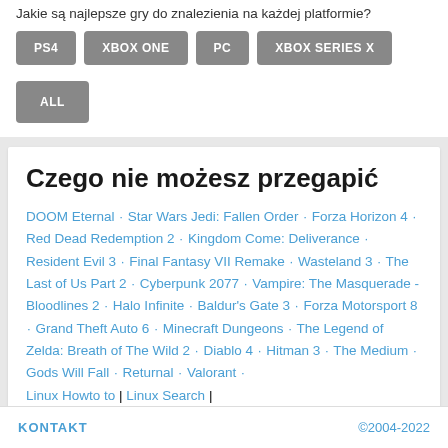Jakie są najlepsze gry do znalezienia na każdej platformie?
PS4
XBOX ONE
PC
XBOX SERIES X
ALL
Czego nie możesz przegapić
DOOM Eternal · Star Wars Jedi: Fallen Order · Forza Horizon 4 · Red Dead Redemption 2 · Kingdom Come: Deliverance · Resident Evil 3 · Final Fantasy VII Remake · Wasteland 3 · The Last of Us Part 2 · Cyberpunk 2077 · Vampire: The Masquerade - Bloodlines 2 · Halo Infinite · Baldur's Gate 3 · Forza Motorsport 8 · Grand Theft Auto 6 · Minecraft Dungeons · The Legend of Zelda: Breath of The Wild 2 · Diablo 4 · Hitman 3 · The Medium · Gods Will Fall · Returnal · Valorant ·
Linux Howto to | Linux Search |
KONTAKT ©2004-2022